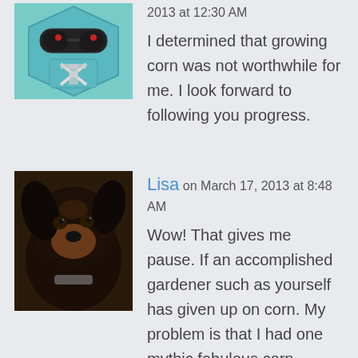[Figure (illustration): Avatar icon: blue hexagonal robot/alien face with sunglasses and a bow-tie pixel art style]
2013 at 12:30 AM
I determined that growing corn was not worthwhile for me. I look forward to following you progress.
[Figure (photo): Photo of a black and brown dog looking at the camera]
Lisa on March 17, 2013 at 8:48 AM
Wow! That gives me pause. If an accomplished gardener such as yourself has given up on corn. My problem is that I had one mythic fabulous corn harvest and I've been trying to recreate it ever since. I'm finding out that corn is not only hard to grow, it sure takes it all out of the soil